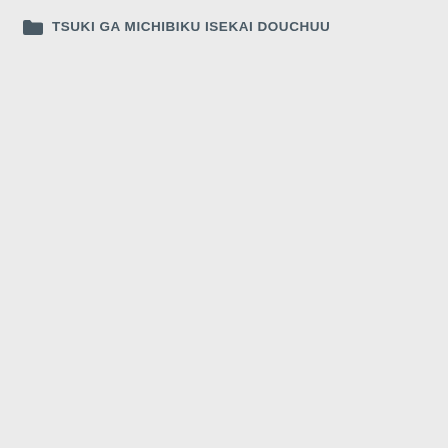TSUKI GA MICHIBIKU ISEKAI DOUCHUU